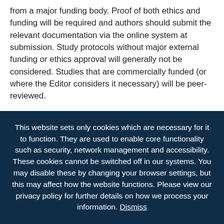from a major funding body. Proof of both ethics and funding will be required and authors should submit the relevant documentation via the online system at submission. Study protocols without major external funding or ethics approval will generally not be considered. Studies that are commercially funded (or where the Editor considers it necessary) will be peer-reviewed.
This website sets only cookies which are necessary for it to function. They are used to enable core functionality such as security, network management and accessibility. These cookies cannot be switched off in our systems. You may disable these by changing your browser settings, but this may affect how the website functions. Please view our privacy policy for further details on how we process your information. Dismiss